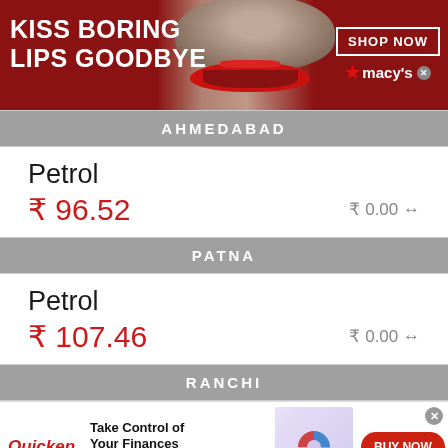[Figure (photo): Macy's advertisement banner with woman wearing red lipstick, text 'KISS BORING LIPS GOODBYE', SHOP NOW button and Macy's logo]
AHMEDABAD
Petrol
₹ 96.52   ₹ 0.00 ↔
PATNA
Petrol
₹ 107.46   ₹ 0.00 ↔
RANCHI
[Figure (photo): Quicken advertisement: 'Take Control of Your Finances - Plan for today and tomorrow with one solution to manage all your finances.' with BUY NOW button]